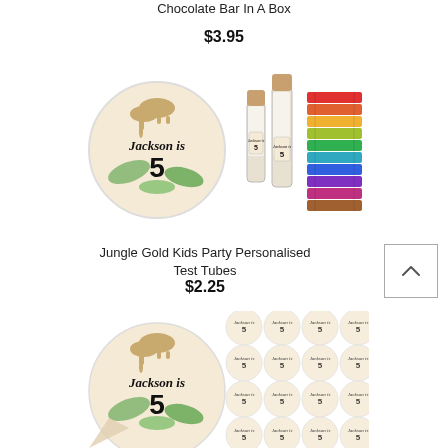Chocolate Bar In A Box
$3.95
[Figure (photo): Product image showing a round sticker with 'Jackson is 5' jungle theme, two test tubes filled with white items and custom labels, and a stack of colorful pencils or sticks]
Jungle Gold Kids Party Personalised Test Tubes
$2.25
[Figure (photo): Sheet of round stickers with jungle theme showing 'Jackson is 5' with elephant and green leaves, one large sticker peeling off in corner, multiple small stickers arranged in grid]